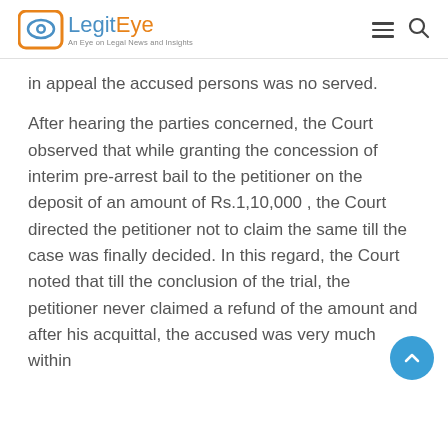LegitEye — An Eye on Legal News and Insights
in appeal the accused persons was no served.
After hearing the parties concerned, the Court observed that while granting the concession of interim pre-arrest bail to the petitioner on the deposit of an amount of Rs.1,10,000 , the Court directed the petitioner not to claim the same till the case was finally decided. In this regard, the Court noted that till the conclusion of the trial, the petitioner never claimed a refund of the amount and after his acquittal, the accused was very much within